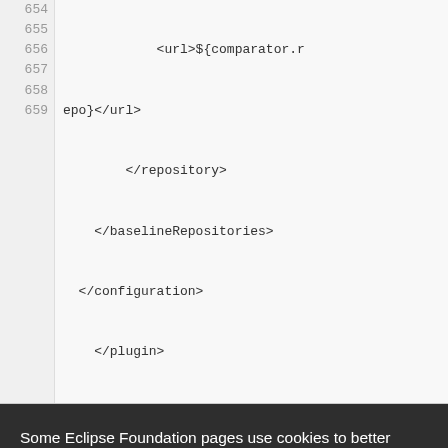[Figure (screenshot): Code editor showing XML lines 654-659 with line numbers. Line 654: <url>${comparator.r, Line 655: epo}</url>, Line 656: </repository>, Line 657: </baselineRepositories>, Line 658: </configuration>, Line 659: </plugin>]
Some Eclipse Foundation pages use cookies to better serve you when you return to the site. You can set your browser to notify you before you receive a cookie or turn off cookies. If you do so, however, some areas of some sites may not function properly. To read Eclipse Foundation Privacy Policy click here.
[Figure (screenshot): Two buttons: 'Decline' (white background, black text) and 'Allow cookies' (orange background, white text)]
[Figure (screenshot): Code editor bottom showing line 677 with content: <id>eclipse-sign</id>]